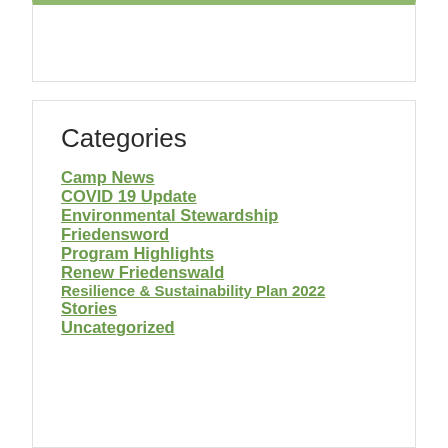Categories
Camp News
COVID 19 Update
Environmental Stewardship
Friedensword
Program Highlights
Renew Friedenswald
Resilience & Sustainability Plan 2022
Stories
Uncategorized